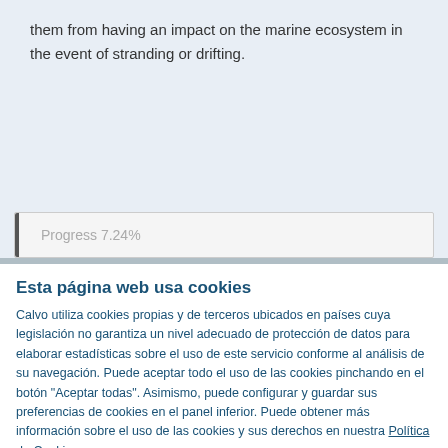them from having an impact on the marine ecosystem in the event of stranding or drifting.
Progress 7.24%
Esta página web usa cookies
Calvo utiliza cookies propias y de terceros ubicados en países cuya legislación no garantiza un nivel adecuado de protección de datos para elaborar estadísticas sobre el uso de este servicio conforme al análisis de su navegación. Puede aceptar todo el uso de las cookies pinchando en el botón "Aceptar todas". Asimismo, puede configurar y guardar sus preferencias de cookies en el panel inferior. Puede obtener más información sobre el uso de las cookies y sus derechos en nuestra Política de Cookies.
Solo seleccionadas
Aceptar todas
Necesarias  Preferencias  Estadística  Marketing  Mostrar detalles